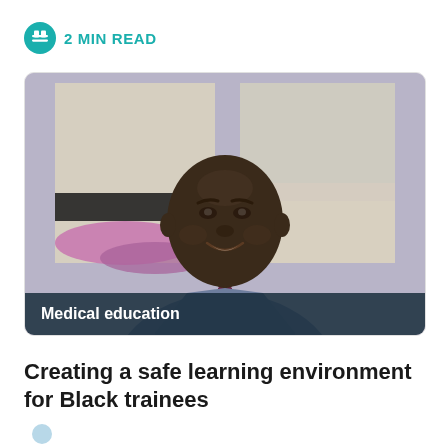2 MIN READ
[Figure (photo): Portrait photo of a Black man in a blue suit and dark red tie, smiling, standing in front of an abstract painting with purple and lavender tones. Overlay text at bottom reads 'Medical education'.]
Creating a safe learning environment for Black trainees